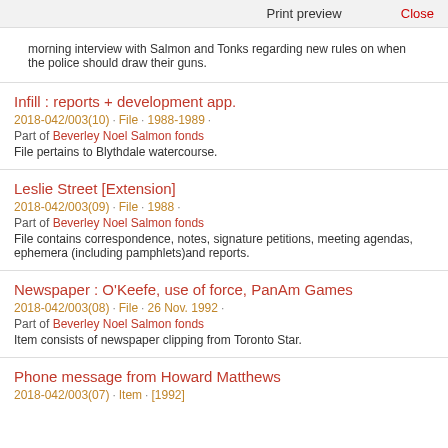Print preview   Close
morning interview with Salmon and Tonks regarding new rules on when the police should draw their guns.
Infill : reports + development app.
2018-042/003(10) · File · 1988-1989 · Part of Beverley Noel Salmon fonds File pertains to Blythdale watercourse.
Leslie Street [Extension]
2018-042/003(09) · File · 1988 · Part of Beverley Noel Salmon fonds File contains correspondence, notes, signature petitions, meeting agendas, ephemera (including pamphlets)and reports.
Newspaper : O'Keefe, use of force, PanAm Games
2018-042/003(08) · File · 26 Nov. 1992 · Part of Beverley Noel Salmon fonds Item consists of newspaper clipping from Toronto Star.
Phone message from Howard Matthews
2018-042/003(07) · Item · [1992]